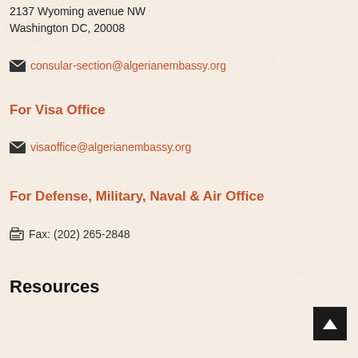2137 Wyoming avenue NW
Washington DC, 20008
consular-section@algerianembassy.org
For Visa Office
visaoffice@algerianembassy.org
For Defense, Military, Naval & Air Office
Fax: (202) 265-2848
Resources